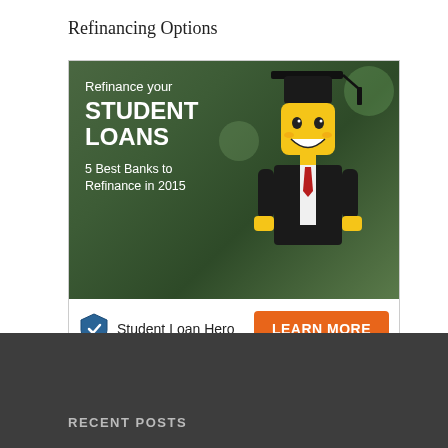Refinancing Options
[Figure (advertisement): Advertisement for Student Loan Hero showing a LEGO figure wearing a graduation cap and suit, with text 'Refinance your STUDENT LOANS - 5 Best Banks to Refinance in 2015'. Bottom bar has Student Loan Hero logo and a LEARN MORE orange button.]
RECENT POSTS